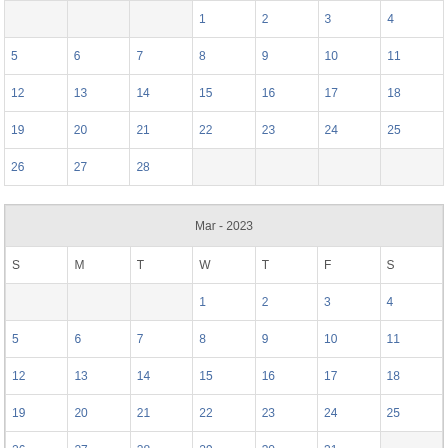| S | M | T | W | T | F | S |
| --- | --- | --- | --- | --- | --- | --- |
|  |  |  | 1 | 2 | 3 | 4 |
| 5 | 6 | 7 | 8 | 9 | 10 | 11 |
| 12 | 13 | 14 | 15 | 16 | 17 | 18 |
| 19 | 20 | 21 | 22 | 23 | 24 | 25 |
| 26 | 27 | 28 |  |  |  |  |
| S | M | T | W | T | F | S |
| --- | --- | --- | --- | --- | --- | --- |
|  |  |  | 1 | 2 | 3 | 4 |
| 5 | 6 | 7 | 8 | 9 | 10 | 11 |
| 12 | 13 | 14 | 15 | 16 | 17 | 18 |
| 19 | 20 | 21 | 22 | 23 | 24 | 25 |
| 26 | 27 | 28 | 29 | 30 | 31 |  |
Check Availability